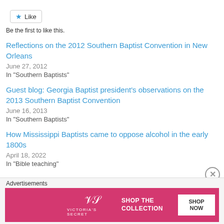Like
Be the first to like this.
Reflections on the 2012 Southern Baptist Convention in New Orleans
June 27, 2012
In "Southern Baptists"
Guest blog: Georgia Baptist president's observations on the 2013 Southern Baptist Convention
June 16, 2013
In "Southern Baptists"
How Mississippi Baptists came to oppose alcohol in the early 1800s
April 18, 2022
In "Bible teaching"
Advertisements